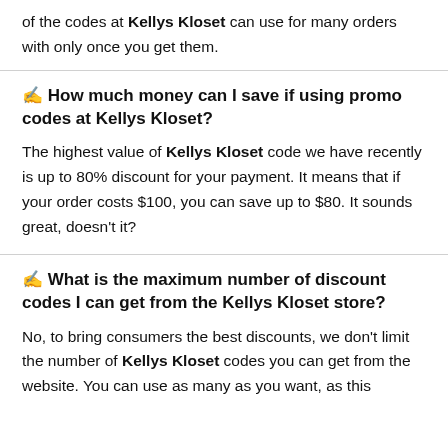of the codes at Kellys Kloset can use for many orders with only once you get them.
✍ How much money can I save if using promo codes at Kellys Kloset?
The highest value of Kellys Kloset code we have recently is up to 80% discount for your payment. It means that if your order costs $100, you can save up to $80. It sounds great, doesn't it?
✍ What is the maximum number of discount codes I can get from the Kellys Kloset store?
No, to bring consumers the best discounts, we don't limit the number of Kellys Kloset codes you can get from the website. You can use as many as you want, as this